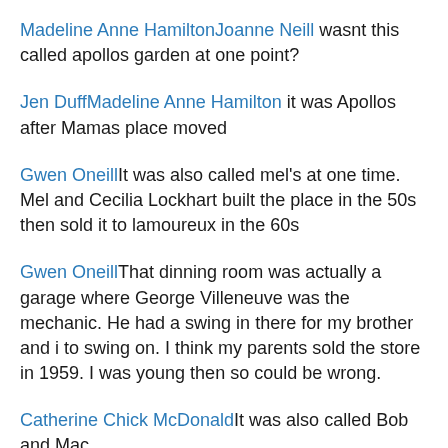Madeline Anne HamiltonJoanne Neill wasnt this called apollos garden at one point?
Jen DuffMadeline Anne Hamilton it was Apollos after Mamas place moved
Gwen OneillIt was also called mel's at one time. Mel and Cecilia Lockhart built the place in the 50s then sold it to lamoureux in the 60s
Gwen OneillThat dinning room was actually a garage where George Villeneuve was the mechanic. He had a swing in there for my brother and i to swing on. I think my parents sold the store in 1959. I was young then so could be wrong.
Catherine Chick McDonaldIt was also called Bob and Mac...